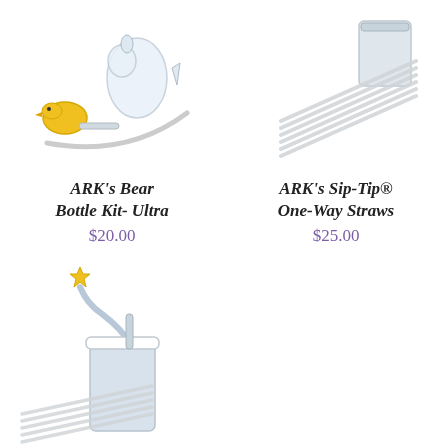[Figure (photo): ARK's Bear Bottle Kit Ultra product image - bottle with yellow funnel and tube]
ARK's Bear Bottle Kit- Ultra
$20.00
[Figure (photo): ARK's Sip-Tip One-Way Straws product image - bundle of straws with cup]
ARK's Sip-Tip® One-Way Straws
$25.00
[Figure (photo): ARK's Sip-Tip product image - cup with lid and yellow star straw, with straw bundle]
ARK's Sip-Tip®
[Figure (photo): Aromatherapy product image (partially visible)]
Aromatherapy